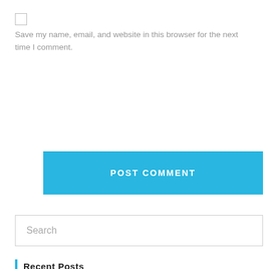Save my name, email, and website in this browser for the next time I comment.
POST COMMENT
Search
Recent Posts
Buku SMA K-13 Edisi Revisi Lengkap
Buku SMP K-13 Edisi Revisi Lengkap
Buku Guru SD/MI Kelas 2 Tema 1 sampai 8 – K13 Rev2017